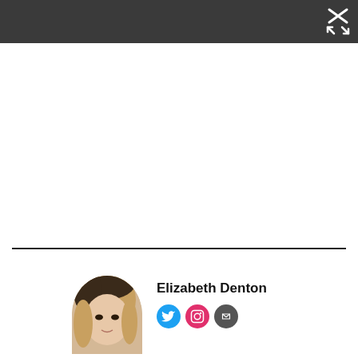[Figure (screenshot): Dark top navigation bar with close/expand icon (X with arrows) in upper right corner]
[Figure (photo): Partial headshot photo of Elizabeth Denton, a woman with blonde/brown hair, cropped at bottom]
Elizabeth Denton
[Figure (infographic): Social media icons: Twitter (blue circle), Instagram (pink/red circle), Email (dark circle)]